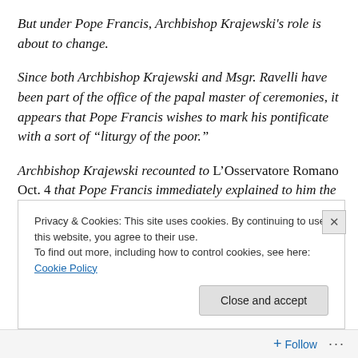But under Pope Francis, Archbishop Krajewski's role is about to change.
Since both Archbishop Krajewski and Msgr. Ravelli have been part of the office of the papal master of ceremonies, it appears that Pope Francis wishes to mark his pontificate with a sort of “liturghy of the poor.”
Archbishop Krajewski recounted to L’Osservatore Romano Oct. 4 that Pope Francis immediately explained to him the way he wanted to re-design his office.
Privacy & Cookies: This site uses cookies. By continuing to use this website, you agree to their use.
To find out more, including how to control cookies, see here: Cookie Policy
Close and accept
Follow ...